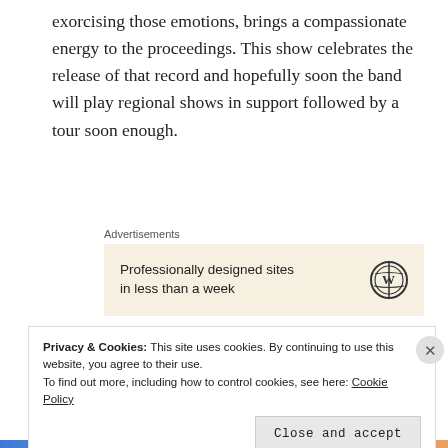exorcising those emotions, brings a compassionate energy to the proceedings. This show celebrates the release of that record and hopefully soon the band will play regional shows in support followed by a tour soon enough.
Advertisements
[Figure (other): Advertisement banner: Professionally designed sites in less than a week, with WordPress logo]
What: Entrancer LP release Downgrade, Lone Dancer, Techno Allah, Felix Fastaward, DLilind
Privacy & Cookies: This site uses cookies. By continuing to use this website, you agree to their use. To find out more, including how to control cookies, see here: Cookie Policy
Close and accept